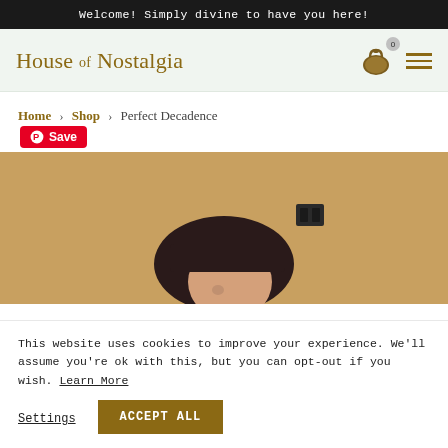Welcome! Simply divine to have you here!
House of Nostalgia
Home > Shop > Perfect Decadence
[Figure (photo): Product photo: partial view of a person with dark hair with bangs against a textured tan/ochre wall]
This website uses cookies to improve your experience. We'll assume you're ok with this, but you can opt-out if you wish. Learn More
Settings
ACCEPT ALL